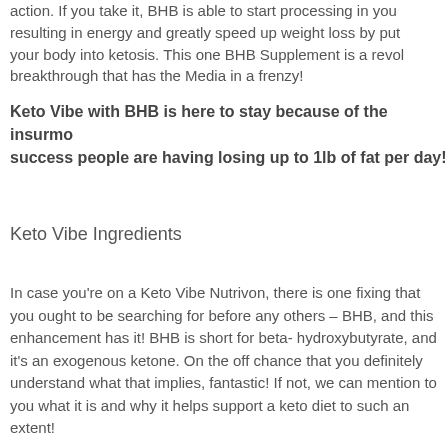action. If you take it, BHB is able to start processing in you resulting in energy and greatly speed up weight loss by putting your body into ketosis. This one BHB Supplement is a revolutionary breakthrough that has the Media in a frenzy!
Keto Vibe with BHB is here to stay because of the insurmountable success people are having losing up to 1lb of fat per day!
Keto Vibe Ingredients
In case you're on a Keto Vibe Nutrivon, there is one fixing that you ought to be searching for before any others – BHB, and this enhancement has it! BHB is short for beta-hydroxybutyrate, and it's an exogenous ketone. On the off chance that you definitely understand what that implies, fantastic! If not, we can mention to you what it is and why it helps support a keto diet to such an extent!